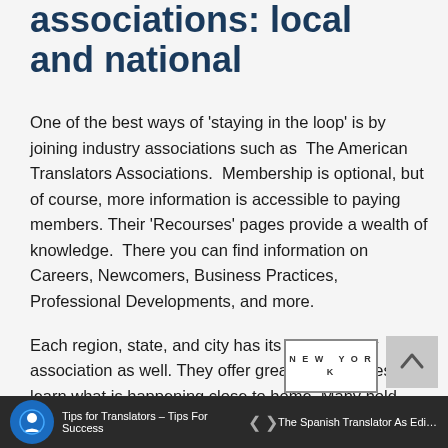associations: local and national
One of the best ways of ‘staying in the loop’ is by joining industry associations such as  The American Translators Associations.  Membership is optional, but of course, more information is accessible to paying members. Their ‘Recourses’ pages provide a wealth of knowledge.  There you can find information on Careers, Newcomers, Business Practices, Professional Developments, and more.
Each region, state, and city has its own industry association as well. They offer great opportunities to learn what is happening close to home. Many hold events where you can meet colleagues and create business contacts. In the mid–Atlantic region, we recommend the DVTA , or the New York Circle of Translators.
Tips for Translators – Tips For Success   <   >   The Spanish Translator As Editor And P...